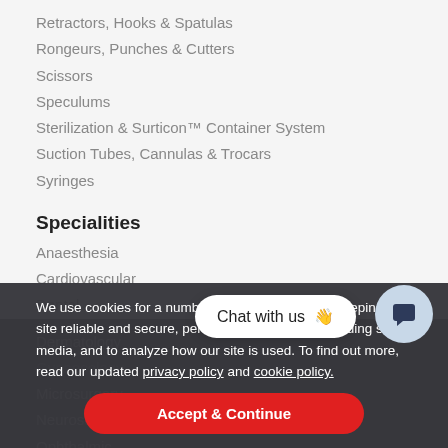Retractors, Hooks & Spatulas
Rongeurs, Punches & Cutters
Scissors
Speculums
Sterilization & Surticon™ Container System
Suction Tubes, Cannulas & Trocars
Syringes
Specialities
Anaesthesia
Cardiovascular
Dental
Dermatology
Microsurgery
Neurosurgery / Spine
Ophthalmic
We use cookies for a number of reasons, such as keeping our site reliable and secure, personalising content, providing social media, and to analyze how our site is used. To find out more, read our updated privacy policy and cookie policy.